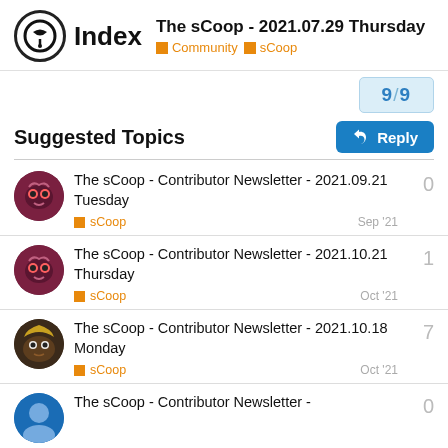Index — The sCoop - 2021.07.29 Thursday — Community > sCoop
9/9
Suggested Topics
The sCoop - Contributor Newsletter - 2021.09.21 Tuesday | sCoop | Sep '21 | 0
The sCoop - Contributor Newsletter - 2021.10.21 Thursday | sCoop | Oct '21 | 1
The sCoop - Contributor Newsletter - 2021.10.18 Monday | sCoop | Oct '21 | 7
The sCoop - Contributor Newsletter - | 0